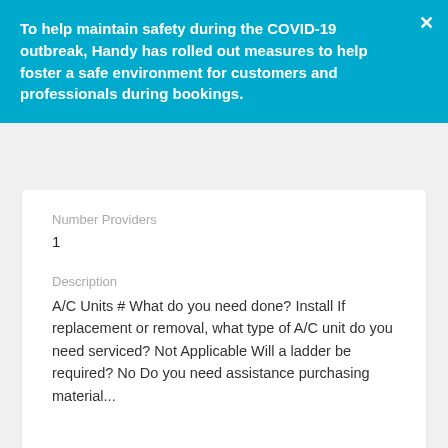To help maintain safety during the COVID-19 outbreak, Handy has rolled out measures to help foster a safe environment for customers and professionals during bookings.
Number Providers
1
Description
A/C Units # What do you need done? Install If replacement or removal, what type of A/C unit do you need serviced? Not Applicable Will a ladder be required? No Do you need assistance purchasing material...